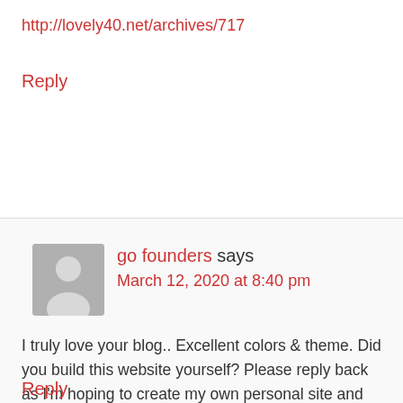http://lovely40.net/archives/717
Reply
go founders says
March 12, 2020 at 8:40 pm
I truly love your blog.. Excellent colors & theme. Did you build this website yourself? Please reply back as I'm hoping to create my own personal site and would like to find out where you got this from or exactly what the theme is named. Kudos.
Reply